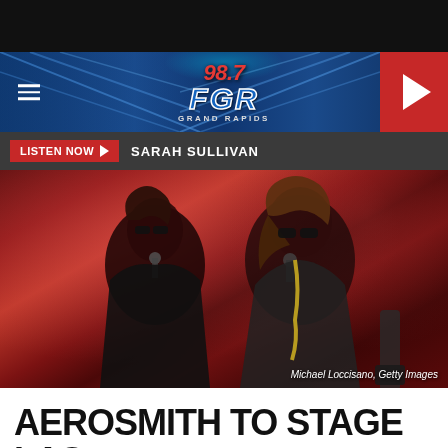[Figure (screenshot): 98.7 FGR Grand Rapids radio station website header banner with blue stage lighting/truss background, hamburger menu on left, logo in center, red play button on right]
LISTEN NOW ▶  SARAH SULLIVAN
[Figure (photo): Concert photo of two Aerosmith band members performing on stage, one with microphone close together, pink/red stage lighting. Credit: Michael Loccisano, Getty Images]
Michael Loccisano, Getty Images
AEROSMITH TO STAGE LAS